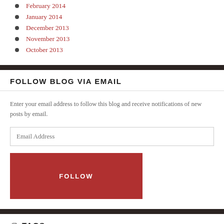February 2014
January 2014
December 2013
November 2013
October 2013
FOLLOW BLOG VIA EMAIL
Enter your email address to follow this blog and receive notifications of new posts by email.
TAGS
Analysis Animation Anime Anime